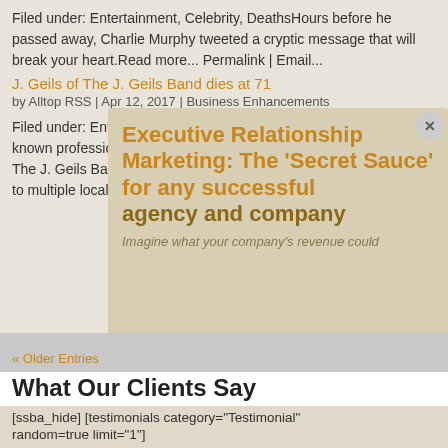Filed under: Entertainment, Celebrity, DeathsHours before he passed away, Charlie Murphy tweeted a cryptic message that will break your heart.Read more... Permalink | Email...
J. Geils of The J. Geils Band dies at 71
by Alltop RSS | Apr 12, 2017 | Business Enhancements
[Figure (other): Modal popup overlay with title: Executive Relationship Marketing: The ‘Secret Sauce’ for any successful agency and company, with tagline: Imagine what your company's revenue could]
Filed under: Entertainment, Celebrity, DeathsJohn Warren Geils, Jr., known professionally as J. Geils and lead guitarist and founder of The J. Geils Band, has died in his home in Groton, Mass according to multiple local reports. He was 71.Read...
« Older Entries
What Our Clients Say
[ssba_hide] [testimonials category="Testimonial" random=true limit="1"]